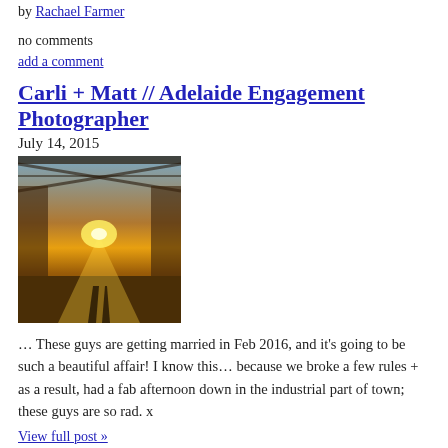by Rachael Farmer
no comments
add a comment
Carli + Matt // Adelaide Engagement Photographer
July 14, 2015
[Figure (photo): Outdoor industrial area photo with bright sunlight/sunset shining through a covered walkway or bridge structure, two silhouetted shadows on the ground]
… These guys are getting married in Feb 2016, and it's going to be such a beautiful affair! I know this… because we broke a few rules + as a result, had a fab afternoon down in the industrial part of town; these guys are so rad. x
View full post »